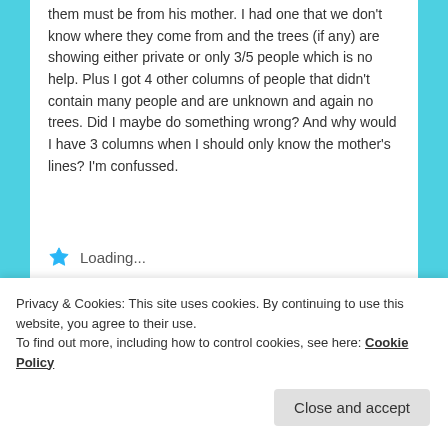them must be from his mother. I had one that we don't know where they come from and the trees (if any) are showing either private or only 3/5 people which is no help. Plus I got 4 other columns of people that didn't contain many people and are unknown and again no trees. Did I maybe do something wrong? And why would I have 3 columns when I should only know the mother's lines? I'm confussed.
Loading...
Reply ↓
clusters and auto trees?
Privacy & Cookies: This site uses cookies. By continuing to use this website, you agree to their use.
To find out more, including how to control cookies, see here: Cookie Policy